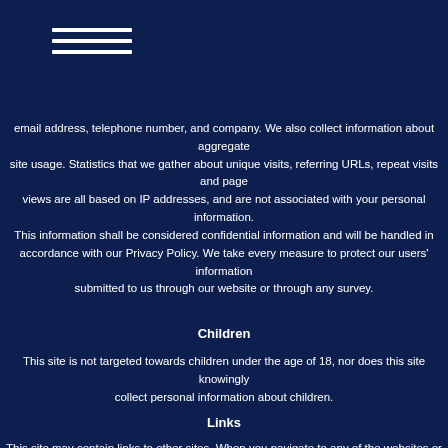[Figure (other): Three horizontal white lines forming a hamburger/menu icon]
email address, telephone number, and company. We also collect information about aggregate site usage. Statistics that we gather about unique visits, referring URLs, repeat visits and page views are all based on IP addresses, and are not associated with your personal information. This information shall be considered confidential information and will be handled in accordance with our Privacy Policy. We take every measure to protect our users' information submitted to us through our website or through any survey.
Children
This site is not targeted towards children under the age of 18, nor does this site knowingly collect personal information about children.
Links
This site may contain links to other sites. When you navigate to any of the websites or posts provided, you are leaving this site. Please be aware that we are not responsible for the privacy practices or content of such other sites. We encourage our users to be aware that when they leave our site they should read the privacy statements of external websites that collect personally identifiable information. Our Privacy Policy applies solely to information collected by this website. We make no representation as to the completeness or accuracy of